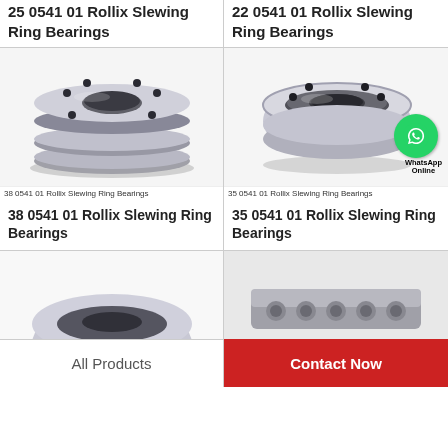25 0541 01 Rollix Slewing Ring Bearings
22 0541 01 Rollix Slewing Ring Bearings
[Figure (photo): Stacked slewing ring bearings product photo - 38 0541 01]
38 0541 01 Rollix Slewing Ring Bearings
[Figure (photo): Slewing ring bearing with WhatsApp Online overlay - 35 0541 01]
35 0541 01 Rollix Slewing Ring Bearings
38 0541 01 Rollix Slewing Ring Bearings
35 0541 01 Rollix Slewing Ring Bearings
[Figure (photo): Partial slewing ring bearing product photo bottom left]
[Figure (photo): Partial chain/roller bearing product photo bottom right]
All Products
Contact Now